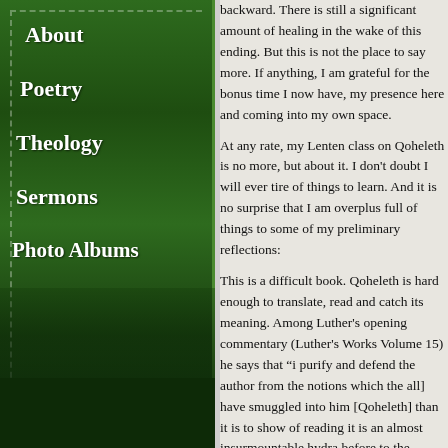About
Poetry
Theology
Sermons
Photo Albums
backward. There is still a significant amount of healing in the wake of this ending. But this is not the place to say more. If anything, I am grateful for the bonus time I now have, my presence here and coming into my own space.

At any rate, my Lenten class on Qoheleth is no more, but about it. I don't doubt I will ever tire of things to learn. And it is no surprise that I am overplus full of things to some of my preliminary reflections:

This is a difficult book. Qoheleth is hard enough to translate, read and catch its meaning. Among Luther's opening commentary (Luther's Works Volume 15) he says that "i purify and defend the author from the notions which the all] have smuggled into him [Qoheleth] than it is to show of reading it is an almost insurmountable hydra before to the interpretive choices of our translation of the text interpretive history, libraries full of Qoheleth commentaries own cultural understandings around the words Qoheleth a book about nihilism. Or more plainly: it is a book that sees it as a postmodern skepticism before its time. Or it